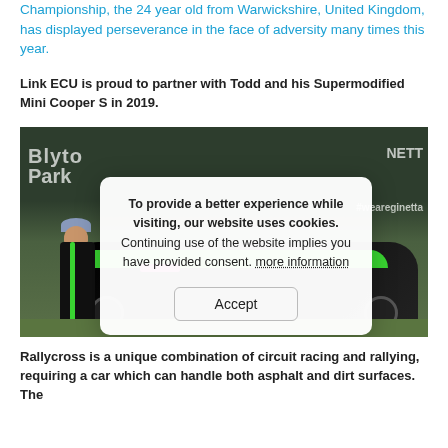Championship, the 24 year old from Warwickshire, United Kingdom, has displayed perseverance in the face of adversity many times this year.
Link ECU is proud to partner with Todd and his Supermodified Mini Cooper S in 2019.
[Figure (photo): A driver in a black racing suit with green stripes stands next to a heavily modified Mini Cooper S rally car with green, black, and magenta livery. The car is parked on grass in front of a dark building with 'Blyton Park' signage and '#weareginetta' text visible.]
Rallycross is a unique combination of circuit racing and rallying, requiring a car which can handle both asphalt and dirt surfaces. The